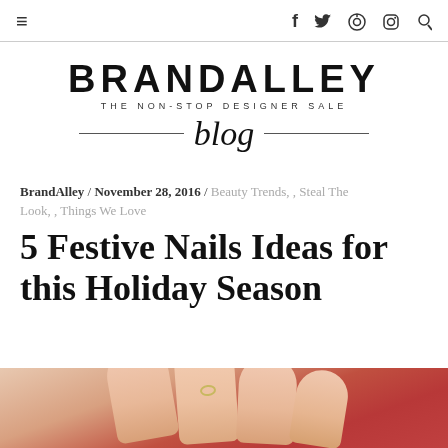≡  f  🐦  ℗  📷  🔍
[Figure (logo): BrandAlley logo with tagline 'THE NON-STOP DESIGNER SALE' and 'blog' in italic script with horizontal lines]
BrandAlley / November 28, 2016 / Beauty Trends, , Steal The Look, , Things We Love
5 Festive Nails Ideas for this Holiday Season
[Figure (photo): Close-up photo of a hand with fingers showing nail polish against a red leather background]